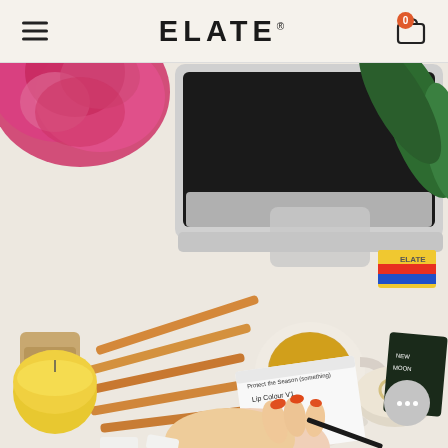ELATE
[Figure (photo): Overhead flat-lay photo of a cream-colored desk with a laptop, pink peony flowers, colored pencils, a yellow candle, a cup of tea, an Elate cosmetics compact, color swatch cards, jewelry in a dish, a small chalkboard, and a hand writing notes on a small notepad.]